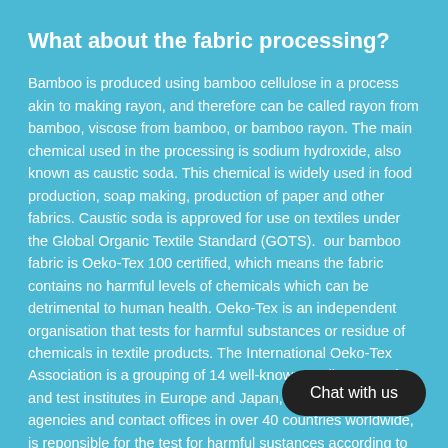What about the fabric processing?
Bamboo is produced using bamboo cellulose in a process akin to making rayon, and therefore can be called rayon from bamboo, viscose from bamboo, or bamboo rayon. The main chemical used in the processing is sodium hydroxide, also known as caustic soda. This chemical is widely used in food production, soap making, production of paper and other fabrics. Caustic soda is approved for use on textiles under the Global Organic Textile Standard (GOTS).  our bamboo fabric is Oeko-Tex 100 certified, which means the fabric contains no harmful levels of chemicals which can be detrimental to human health. Oeko-Tex is an independent organisation that tests for harmful substances or residue of chemicals in textile products. The International Oeko-Tex Association is a grouping of 14 well-known textile research and test institutes in Europe and Japan, with representative agencies and contact offices in over 40 countries worldwide, is reponsible for the test for harmful sustances according to the Oeko-Tex Standard 100. www.oekotex.com  The fabric production process will continue to evolve as more research and development is done